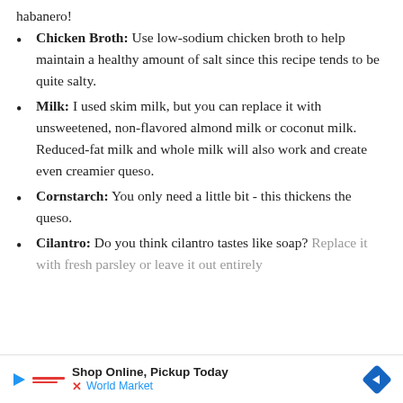habanero!
Chicken Broth: Use low-sodium chicken broth to help maintain a healthy amount of salt since this recipe tends to be quite salty.
Milk: I used skim milk, but you can replace it with unsweetened, non-flavored almond milk or coconut milk. Reduced-fat milk and whole milk will also work and create even creamier queso.
Cornstarch: You only need a little bit - this thickens the queso.
Cilantro: Do you think cilantro tastes like soap? Replace it with fresh parsley or leave it out entirely
Shop Online, Pickup Today World Market